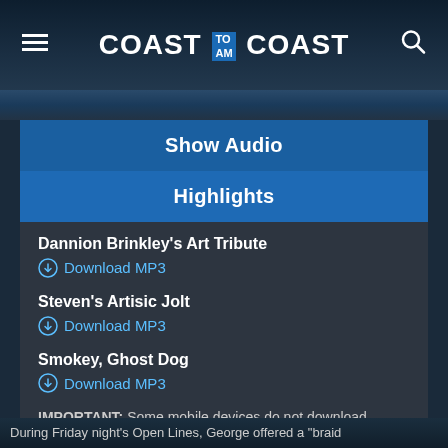COAST TO AM COAST
Show Audio
Highlights
Dannion Brinkley's Art Tribute
Download MP3
Steven's Artisic Jolt
Download MP3
Smokey, Ghost Dog
Download MP3
IMPORTANT: Some mobile devices do not download MP3s. If this is the case, please use your desktop computer or download our mobile app.
During Friday night's Open Lines, George offered a "braid